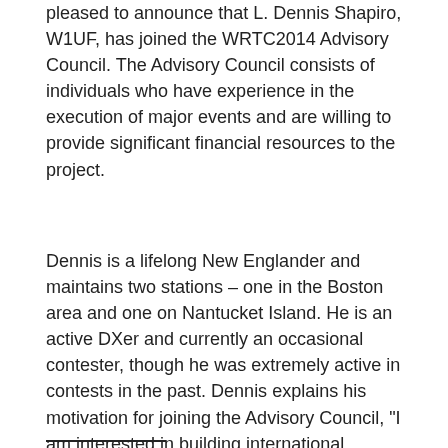pleased to announce that L. Dennis Shapiro, W1UF, has joined the WRTC2014 Advisory Council. The Advisory Council consists of individuals who have experience in the execution of major events and are willing to provide significant financial resources to the project.
Dennis is a lifelong New Englander and maintains two stations – one in the Boston area and one on Nantucket Island. He is an active DXer and currently an occasional contester, though he was extremely active in contests in the past. Dennis explains his motivation for joining the Advisory Council, “I am interested in building international friendships and see WRTC as furthering that goal.”